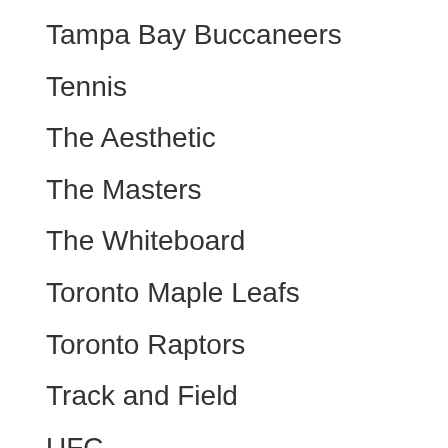Tampa Bay Buccaneers
Tennis
The Aesthetic
The Masters
The Whiteboard
Toronto Maple Leafs
Toronto Raptors
Track and Field
UFC
Uncategorized
Utah Jazz
Video
Washington Wizards